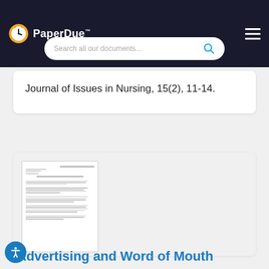PaperDue™
Search all our documents...
Journal of Issues in Nursing, 15(2), 11-14.
[Figure (screenshot): Thumbnail preview of a document page with numbered list items and header text]
Advertising and Word of Mouth